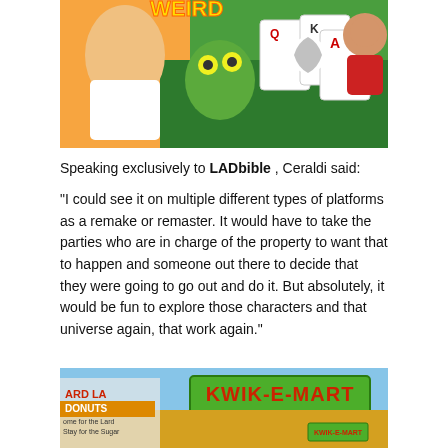[Figure (illustration): Colorful cartoon/game illustration showing animated characters including a man with 3D glasses, a green creature, playing cards (Q, K, A), a soccer ball, and a cartoon child character, on a green background with partial text at top.]
Speaking exclusively to LADbible , Ceraldi said:
"I could see it on multiple different types of platforms as a remake or remaster. It would have to take the parties who are in charge of the property to want that to happen and someone out there to decide that they were going to go out and do it. But absolutely, it would be fun to explore those characters and that universe again, that work again."
[Figure (screenshot): Screenshot from a Simpsons video game showing the Kwik-E-Mart storefront with its green and red sign, and on the left the Lard Lad Donuts sign partially visible with text 'Home for the Lard, Stay for the Sugar'.]